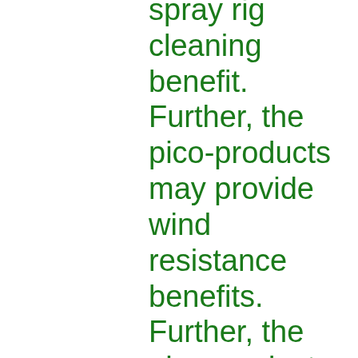spray rig cleaning benefit. Further, the pico-products may provide wind resistance benefits. Further, the pico-products may provide late